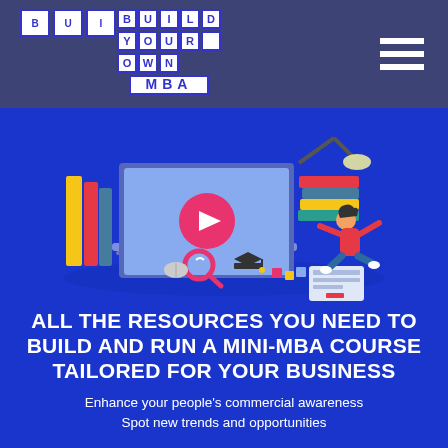[Figure (logo): Build Your Own MBA logo — grid of letter tiles spelling BUILD / YOUR OWN / MBA in blue on white]
[Figure (illustration): Isometric illustration of a large laptop/monitor with a play button, surrounded by books, a magnifying glass, a graduation cap, and a person in pink floating/flying toward the screen, on a royal blue background]
ALL THE RESOURCES YOU NEED TO BUILD AND RUN A MINI-MBA COURSE TAILORED FOR YOUR BUSINESS
Enhance your people's commercial awareness
Spot new trends and opportunities